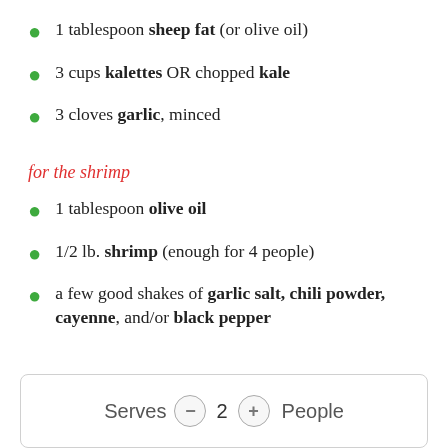1 tablespoon sheep fat (or olive oil)
3 cups kalettes OR chopped kale
3 cloves garlic, minced
for the shrimp
1 tablespoon olive oil
1/2 lb. shrimp (enough for 4 people)
a few good shakes of garlic salt, chili powder, cayenne, and/or black pepper
Serves 2 People